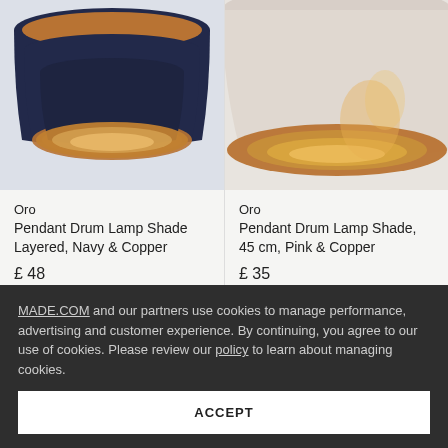[Figure (photo): Navy blue layered drum pendant lamp shade with copper/gold interior, viewed from below-front angle, partially cropped at top.]
[Figure (photo): Pink/cream drum pendant lamp shade with copper/gold interior, viewed from below, partially cropped at top.]
Oro
Pendant Drum Lamp Shade Layered, Navy & Copper
£ 48
Oro
Pendant Drum Lamp Shade, 45 cm, Pink & Copper
£ 35
MADE.COM and our partners use cookies to manage performance, advertising and customer experience. By continuing, you agree to our use of cookies. Please review our policy to learn about managing cookies.
ACCEPT